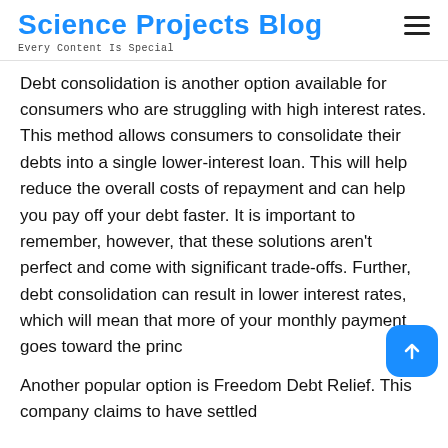Science Projects Blog
Every Content Is Special
Debt consolidation is another option available for consumers who are struggling with high interest rates. This method allows consumers to consolidate their debts into a single lower-interest loan. This will help reduce the overall costs of repayment and can help you pay off your debt faster. It is important to remember, however, that these solutions aren't perfect and come with significant trade-offs. Further, debt consolidation can result in lower interest rates, which will mean that more of your monthly payment goes toward the princ
Another popular option is Freedom Debt Relief. This company claims to have settled